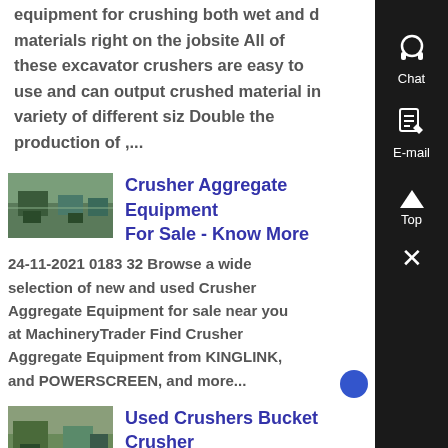equipment for crushing both wet and d materials right on the jobsite All of these excavator crushers are easy to use and can output crushed material in variety of different siz Double the production of ,...
[Figure (photo): Thumbnail image of crusher/aggregate equipment at a facility]
Crusher Aggregate Equipment For Sale - Know More
24-11-2021 0183 32 Browse a wide selection of new and used Crusher Aggregate Equipment for sale near you at MachineryTrader Find Crusher Aggregate Equipment from KINGLINK, and POWERSCREEN, and more...
[Figure (photo): Thumbnail image of used crushers/bucket crusher]
Used Crushers Bucket Crusher